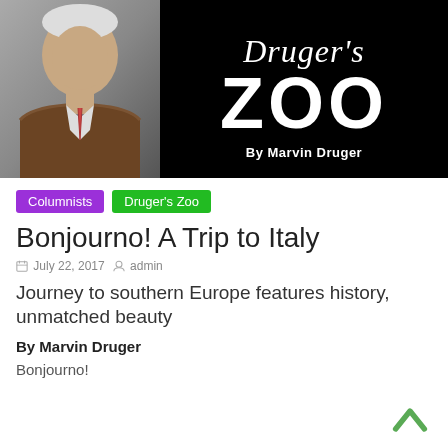[Figure (photo): Header banner for Druger's Zoo column. Black background with a photo of an elderly smiling man in a brown suit on the left, and text reading "Druger's Zoo" in large white letters with "By Marvin Druger" below on the right.]
Columnists
Druger's Zoo
Bonjourno! A Trip to Italy
July 22, 2017   admin
Journey to southern Europe features history, unmatched beauty
By Marvin Druger
Bonjourno!